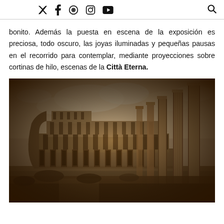Social media icons and search icon header bar
bonito. Además la puesta en escena de la exposición es preciosa, todo oscuro, las joyas iluminadas y pequeñas pausas en el recorrido para contemplar, mediante proyecciones sobre cortinas de hilo, escenas de la Città Eterna.
[Figure (photo): Sepia-toned vintage photograph of the Colosseum in Rome with ancient columns in the foreground on the right side, under a cloudy sky.]